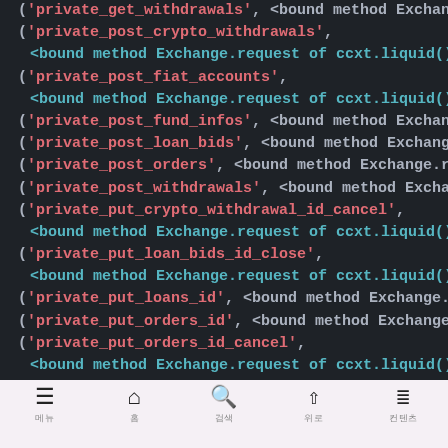[Figure (screenshot): Code screenshot showing Python CCXT exchange API method tuples with string keys in red/pink and method references in teal/cyan on dark background]
☰ 메뉴   🏠 홈   🔍 검색   ⬆ 위로   ☰ 컨텐츠